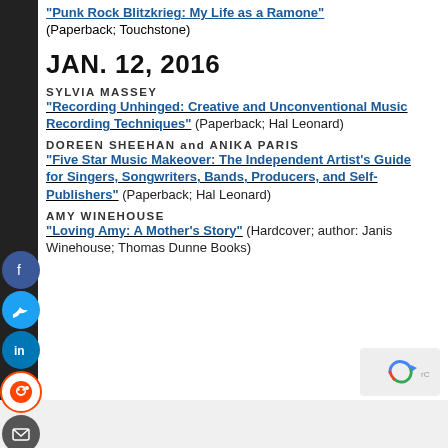“Punk Rock Blitzkrieg: My Life as a Ramone” (Paperback; Touchstone)
JAN. 12, 2016
SYLVIA MASSEY
“Recording Unhinged: Creative and Unconventional Music Recording Techniques” (Paperback; Hal Leonard)
DOREEN SHEEHAN and ANIKA PARIS
“Five Star Music Makeover: The Independent Artist’s Guide for Singers, Songwriters, Bands, Producers, and Self-Publishers” (Paperback; Hal Leonard)
AMY WINEHOUSE
“Loving Amy: A Mother’s Story” (Hardcover; author: Janis Winehouse; Thomas Dunne Books)